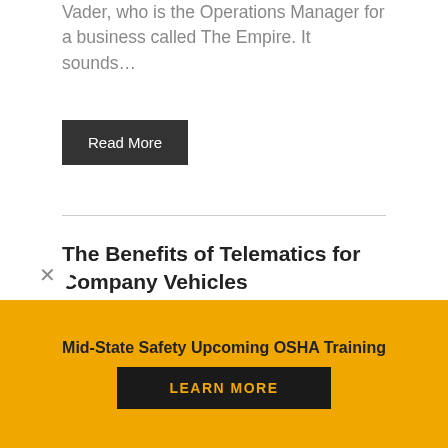Vader, who is the Operations Manager for a business called The Empire. It sounds…
Read More
The Benefits of Telematics for Company Vehicles
By Insurance Feed | accident investigation, Auto, Business, car camera, Claims, Commercial, commercial insurance, company drivers, company vehicles, fleet claims, fleet management, fleet performance, fleet safety program, fleet
Mid-State Safety Upcoming OSHA Training
LEARN MORE